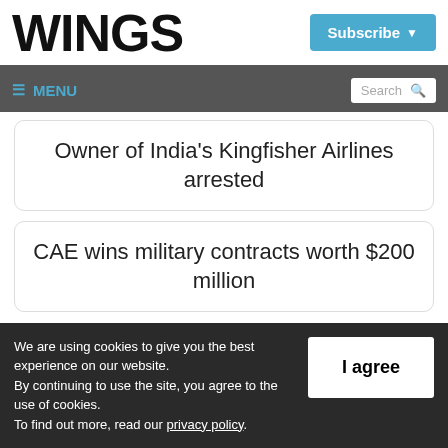WINGS
Subscribe ▾
≡ MENU  Search 🔍
Owner of India's Kingfisher Airlines arrested
CAE wins military contracts worth $200 million
→
We are using cookies to give you the best experience on our website. By continuing to use the site, you agree to the use of cookies. To find out more, read our privacy policy.
I agree